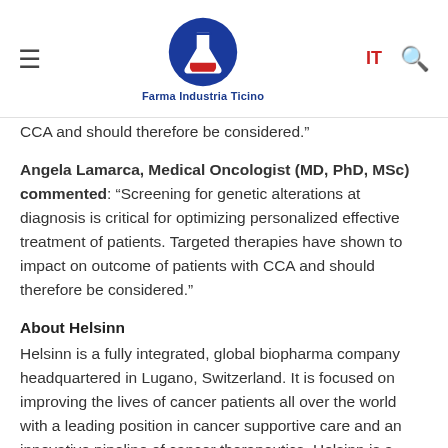Farma Industria Ticino
CCA and should therefore be considered.”
Angela Lamarca, Medical Oncologist (MD, PhD, MSc) commented: “Screening for genetic alterations at diagnosis is critical for optimizing personalized effective treatment of patients. Targeted therapies have shown to impact on outcome of patients with CCA and should therefore be considered.”
About Helsinn
Helsinn is a fully integrated, global biopharma company headquartered in Lugano, Switzerland. It is focused on improving the lives of cancer patients all over the world with a leading position in cancer supportive care and an innovative pipeline of cancer therapeutics. Helsinn is a third-generation family-